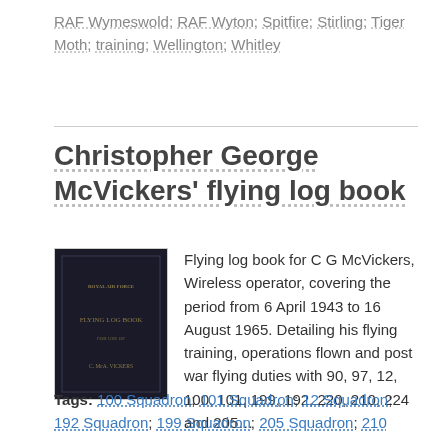RAF Wymeswold; RAF Wyton; Spitfire; Stirling; Tiger Moth; training; Wellington; Whitley
Christopher George McVickers' flying log book
[Figure (photo): Dark navy blue flying log book cover with gold text]
Flying log book for C G McVickers, Wireless operator, covering the period from 6 April 1943 to 16 August 1965. Detailing his flying training, operations flown and post war flying duties with 90, 97, 12, 100, 101, 199, 192, 220, 210, 224 and 205…
Tags: 100 Squadron; 101 Squadron; 12 Squadron; 192 Squadron; 199 Squadron; 205 Squadron; 210